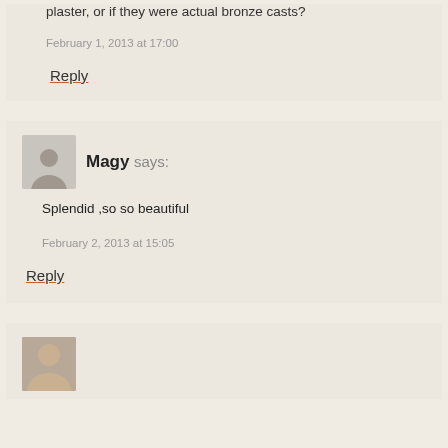plaster, or if they were actual bronze casts?
February 1, 2013 at 17:00
Reply
Magy says:
Splendid ,so so beautiful
February 2, 2013 at 15:05
Reply